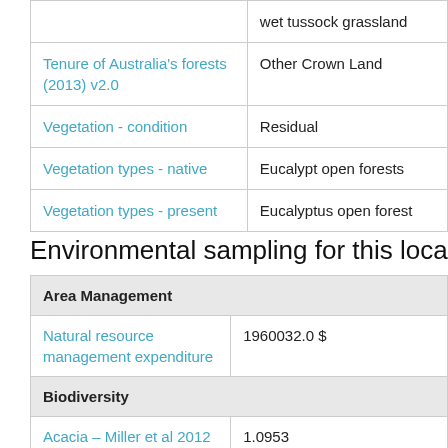|  | wet tussock grassland |
| Tenure of Australia's forests (2013) v2.0 | Other Crown Land |
| Vegetation - condition | Residual |
| Vegetation types - native | Eucalypt open forests |
| Vegetation types - present | Eucalyptus open forest |
Environmental sampling for this location
| Area Management |  |
| Natural resource management expenditure | 1960032.0 $ |
| Biodiversity |  |
| Acacia – Miller et al 2012 - 0.5 degree | 1.0953 |
| Amphibians (global) – Pyron & Wiens 2011 - 0.5 degree | 4.9406 |